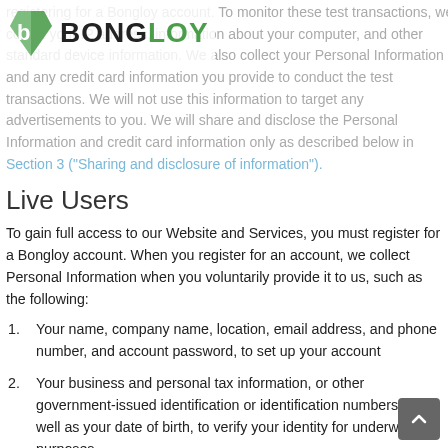registering for a Bongloy account. To monitor these test transactions, we collect your IP address, information about your computer, and other standard device information. We also collect your Personal Information and any credit card information you provide to conduct the test transactions. We will not use this information to target any advertisements to you. We will share and disclose the Personal Information and credit card information only as described below in Section 3 ("Sharing and disclosure of information").
[Figure (logo): Bongloy logo with green and gray shield-like icon and BONGLOY text in bold]
Live Users
To gain full access to our Website and Services, you must register for a Bongloy account. When you register for an account, we collect Personal Information when you voluntarily provide it to us, such as the following:
Your name, company name, location, email address, and phone number, and account password, to set up your account
Your business and personal tax information, or other government-issued identification or identification numbers, as well as your date of birth, to verify your identity for underwriting purposes
Your bank account information, to settle funds for your